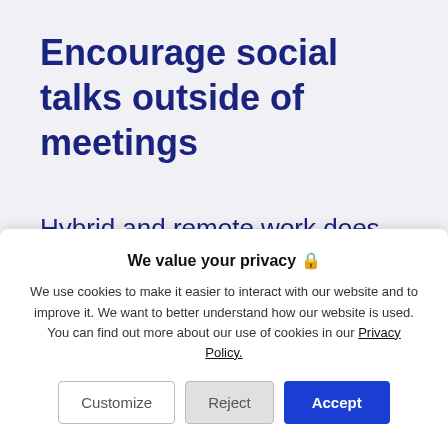Encourage social talks outside of meetings
Hybrid and remote work does get lonely. Particularly for extroverts, meetings provide a much-needed opportunity to talk face-to-face with other human beings. It's
We value your privacy 🔒
We use cookies to make it easier to interact with our website and to improve it. We want to better understand how our website is used. You can find out more about our use of cookies in our Privacy Policy.
Customize    Reject    Accept